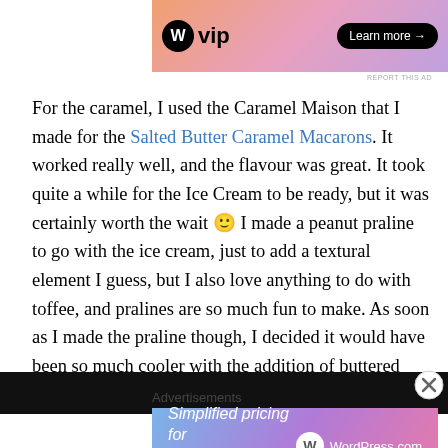[Figure (screenshot): WordPress VIP advertisement banner with gradient background, W logo and vip text, Learn more button]
REPORT THIS AD
For the caramel, I used the Caramel Maison that I made for the Salted Butter Caramel Macarons. It worked really well, and the flavour was great. It took quite a while for the Ice Cream to be ready, but it was certainly worth the wait 🙂 I made a peanut praline to go with the ice cream, just to add a textural element I guess, but I also love anything to do with toffee, and pralines are so much fun to make. As soon as I made the praline though, I decided it would have been so much cooler with the addition of buttered popcorn. Oh well, next time!
[Figure (photo): Dark image strip at bottom of page]
Advertisements
[Figure (screenshot): WordPress.com advertisement with gradient background: Simplified pricing for everything you need.]